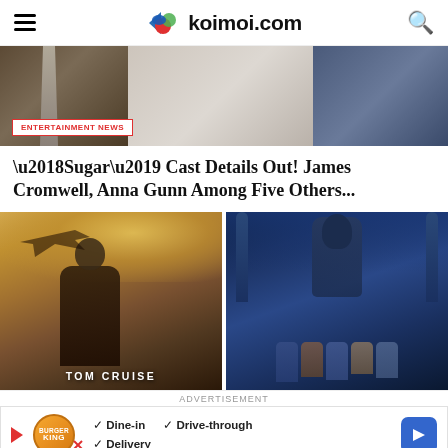koimoi.com
[Figure (photo): Hero banner image showing people in formal suits, with an 'ENTERTAINMENT NEWS' badge overlay in the lower left]
‘Sugar’ Cast Details Out! James Cromwell, Anna Gunn Among Five Others...
[Figure (photo): Two movie posters side by side: left shows Tom Cruise in Top Gun: Maverick with a fighter jet and the text 'TOM CRUISE'; right shows the Black Panther movie poster with Chadwick Boseman and ensemble cast]
ADVERTISEMENT
[Figure (infographic): Burger King advertisement banner showing logo, checkmarks for Dine-in, Drive-through, and Delivery options, and a blue navigation arrow icon]